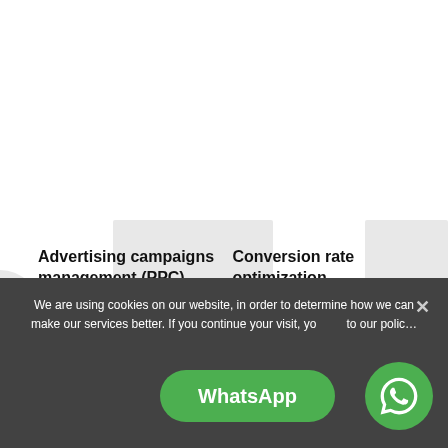Advertising campaigns management (PPC)
Conversion rate optimization
We are using cookies on our website, in order to determine how we can make our services better. If you continue your visit, you agree to our polic...
[Figure (other): WhatsApp green rounded button with text 'WhatsApp' and a WhatsApp circle icon button on the right]